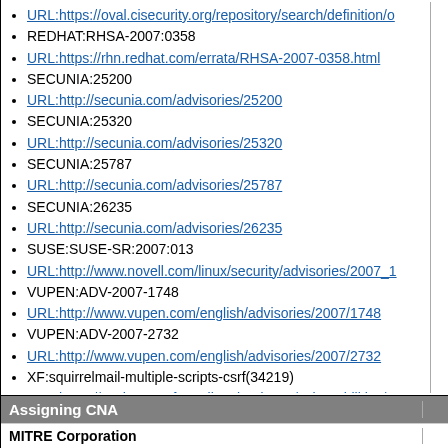URL:https://oval.cisecurity.org/repository/search/definition/o
REDHAT:RHSA-2007:0358
URL:https://rhn.redhat.com/errata/RHSA-2007-0358.html
SECUNIA:25200
URL:http://secunia.com/advisories/25200
SECUNIA:25320
URL:http://secunia.com/advisories/25320
SECUNIA:25787
URL:http://secunia.com/advisories/25787
SECUNIA:26235
URL:http://secunia.com/advisories/26235
SUSE:SUSE-SR:2007:013
URL:http://www.novell.com/linux/security/advisories/2007_1
VUPEN:ADV-2007-1748
URL:http://www.vupen.com/english/advisories/2007/1748
VUPEN:ADV-2007-2732
URL:http://www.vupen.com/english/advisories/2007/2732
XF:squirrelmail-multiple-scripts-csrf(34219)
URL:https://exchange.xforce.ibmcloud.com/vulnerabilities/3
Assigning CNA
MITRE Corporation